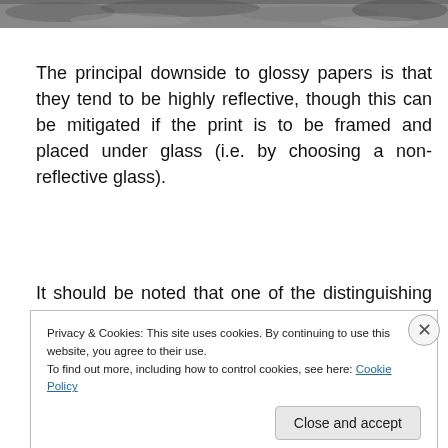[Figure (photo): Grayscale textured photograph strip at the top of the page, showing a rough or rocky surface.]
The principal downside to glossy papers is that they tend to be highly reflective, though this can be mitigated if the print is to be framed and placed under glass (i.e. by choosing a non-reflective glass).
It should be noted that one of the distinguishing aspects of this kind of paper is that the ink doesn't penetrate the
Privacy & Cookies: This site uses cookies. By continuing to use this website, you agree to their use.
To find out more, including how to control cookies, see here: Cookie Policy
REPORT THIS